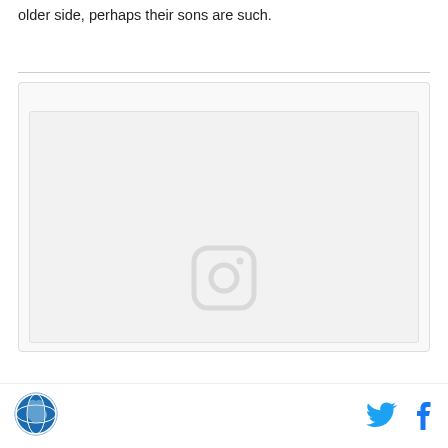older side, perhaps their sons are such.
[Figure (screenshot): Instagram embed placeholder with Instagram camera icon centered in a light gray box]
Globe logo icon on left; Twitter and Facebook social icons on right